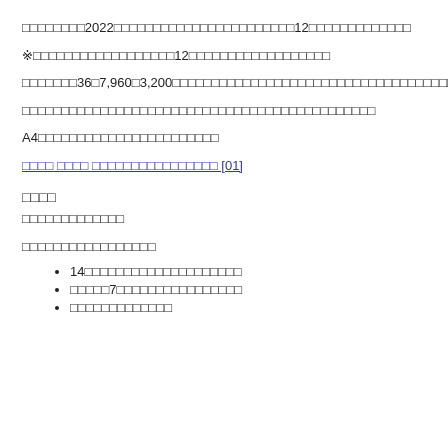□□□□□□□□2022□□□□□□□□□□□□□□□□□□□□□□□12□□□□□□□□□□□□□
※□□□□□□□□□□□□□□□□□□12□□□□□□□□□□□□□□□□□□
□□□□□□□36□7,960□3,200□□□□□□□□□□□□□□□□□□□□□□□□□□□□□□□□□□□□□
□□□□□□□□□□□□□□□□□□□□□□□□□□□□□□□□□□□□□□□□□□□□□
A4□□□□□□□□□□□□□□□□□□□□□□□
□□□□ □□□□ □□□□□□□□□□□□□□□□ [01]
□□□□
□□□□□□□□□□□□□
□□□□□□□□□□□□□□□□□
14□□□□□□□□□□□□□□□□□□□□
□□□□□7□□□□□□□□□□□□□□□□
□□□□□□□□□□□□□